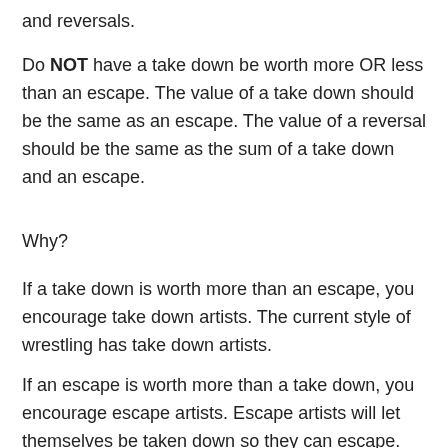and reversals.
Do NOT have a take down be worth more OR less than an escape. The value of a take down should be the same as an escape. The value of a reversal should be the same as the sum of a take down and an escape.
Why?
If a take down is worth more than an escape, you encourage take down artists. The current style of wrestling has take down artists.
If an escape is worth more than a take down, you encourage escape artists. Escape artists will let themselves be taken down so they can escape.
You want the reversal to be the same as the sum of a take down and an escape so coaches have reason to teach reversals. You don't want the reversal worth more